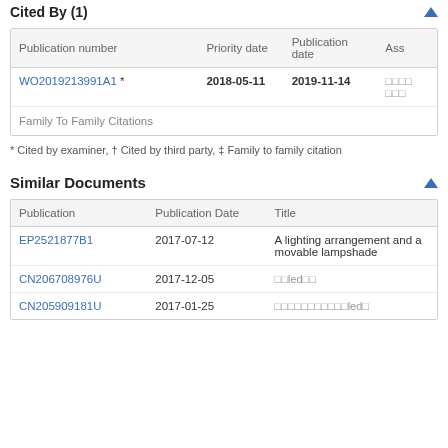Cited By (1)
| Publication number | Priority date | Publication date | Ass |
| --- | --- | --- | --- |
| WO2019213991A1 * | 2018-05-11 | 2019-11-14 | □□□□□□□ |
| Family To Family Citations |  |  |  |
* Cited by examiner, † Cited by third party, ‡ Family to family citation
Similar Documents
| Publication | Publication Date | Title |
| --- | --- | --- |
| EP2521877B1 | 2017-07-12 | A lighting arrangement and a movable lampshade |
| CN206708976U | 2017-12-05 | □□led□□ |
| CN205909181U | 2017-01-25 | □□□□□□□□□□□led□ |